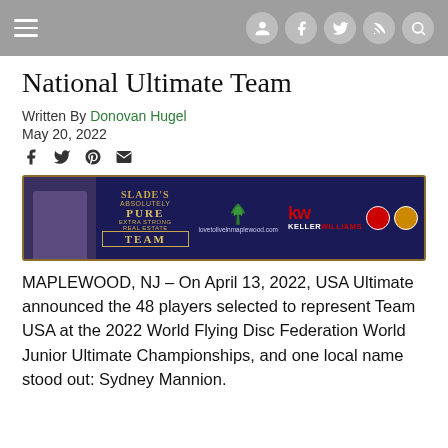Navigation bar with hamburger menu and social/search icons
National Ultimate Team
Written By Donovan Hugel
May 20, 2022
[Figure (photo): Advertisement banner for Slade's Absolutely Pure Extra Strong Real Estate Team featuring Keller Williams, lovetoliveinmaplewood.com, and a cannabis leaf logo]
MAPLEWOOD, NJ – On April 13, 2022, USA Ultimate announced the 48 players selected to represent Team USA at the 2022 World Flying Disc Federation World Junior Ultimate Championships, and one local name stood out: Sydney Mannion.